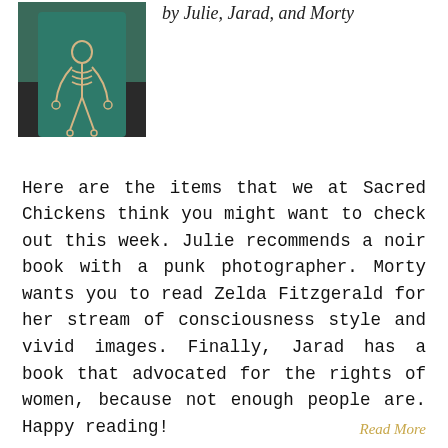by Julie, Jarad, and Morty
[Figure (photo): A person wearing a teal sweater with a skeleton print on it, photographed indoors.]
Here are the items that we at Sacred Chickens think you might want to check out this week. Julie recommends a noir book with a punk photographer. Morty wants you to read Zelda Fitzgerald for her stream of consciousness style and vivid images. Finally, Jarad has a book that advocated for the rights of women, because not enough people are. Happy reading!
Read More